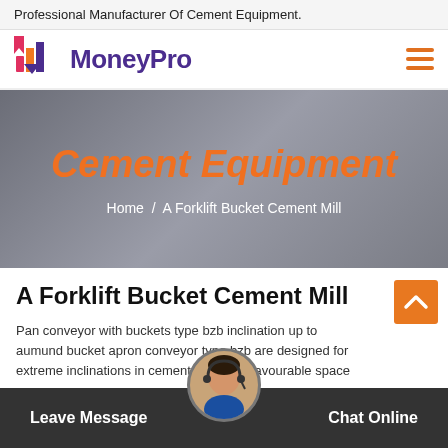Professional Manufacturer Of Cement Equipment.
[Figure (logo): MoneyPro logo with colorful bar chart icon and purple text]
Cement Equipment
Home / A Forklift Bucket Cement Mill
A Forklift Bucket Cement Mill
Pan conveyor with buckets type bzb inclination up to aumund bucket apron conveyor type bzb are designed for extreme inclinations in cement plants. unfavourable space